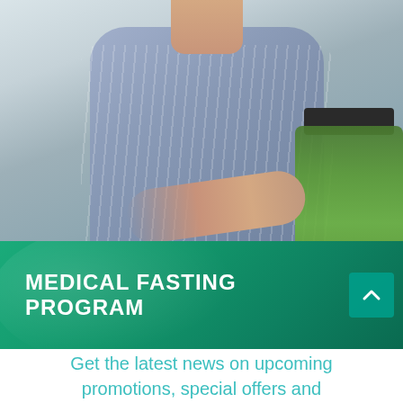[Figure (photo): Woman in striped blue shirt using a blender with green juice/smoothie in a kitchen setting]
MEDICAL FASTING PROGRAM
Get the latest news on upcoming promotions, special offers and